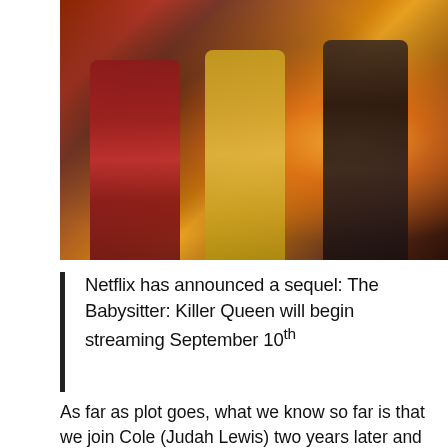[Figure (photo): Three people standing in an outdoor rocky setting with fire in the background. Left: person in red tracksuit. Center: woman in yellow outfit with cat ears. Right: shirtless muscular man in jeans.]
Netflix has announced a sequel: The Babysitter: Killer Queen will begin streaming September 10th
As far as plot goes, what we know so far is that we join Cole (Judah Lewis) two years later and in